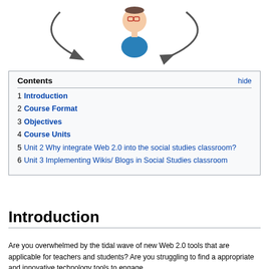[Figure (illustration): Diagram showing a person (teacher/user icon with glasses and blue shirt) in the center with circular arrows on both sides, suggesting a feedback or interaction loop.]
1 Introduction
2 Course Format
3 Objectives
4 Course Units
5 Unit 2 Why integrate Web 2.0 into the social studies classroom?
6 Unit 3 Implementing Wikis/ Blogs in Social Studies classroom
Introduction
Are you overwhelmed by the tidal wave of new Web 2.0 tools that are applicable for teachers and students? Are you struggling to find a appropriate and innovative technology tools to engage